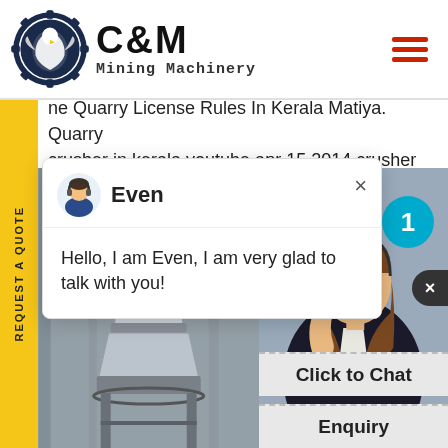[Figure (logo): C&M Mining Machinery logo with eagle/gear icon in dark blue, brand name in bold black text]
ne Quarry License Rules In Kerala Matiya. Quarry crusher in kerala youtube apr 15 2014 crusher
Even
Hello, I am Even, I am very glad to talk with you!
[Figure (photo): Industrial cone crusher machinery photo on left, female customer service agent with headset on right with notification bubble showing 1]
Click to Chat
Enquiry